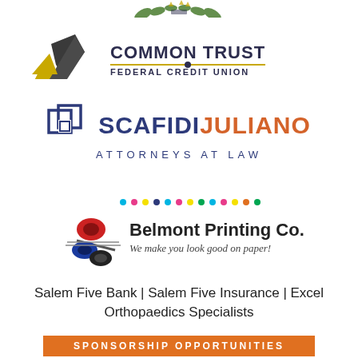[Figure (logo): Partial decorative logo/crest at top of page (leaves and emblem, partially cropped)]
[Figure (logo): Common Trust Federal Credit Union logo with yellow and dark grey geometric mark and text]
[Figure (logo): Scafidi Juliano Attorneys at Law logo with overlapping square frames icon]
[Figure (logo): Belmont Printing Co. logo with ink rolls and tagline 'We make you look good on paper!']
Salem Five Bank | Salem Five Insurance | Excel Orthopaedics Specialists
SPONSORSHIP OPPORTUNITIES